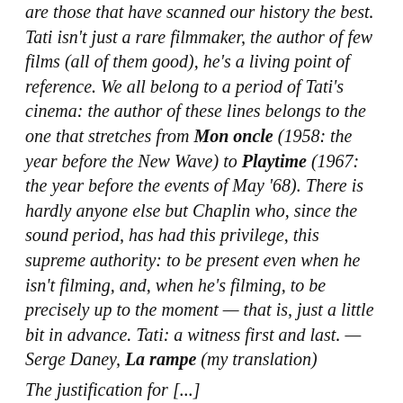are those that have scanned our history the best. Tati isn't just a rare filmmaker, the author of few films (all of them good), he's a living point of reference. We all belong to a period of Tati's cinema: the author of these lines belongs to the one that stretches from Mon oncle (1958: the year before the New Wave) to Playtime (1967: the year before the events of May '68). There is hardly anyone else but Chaplin who, since the sound period, has had this privilege, this supreme authority: to be present even when he isn't filming, and, when he's filming, to be precisely up to the moment — that is, just a little bit in advance. Tati: a witness first and last. — Serge Daney, La rampe (my translation)
The justification for [...]...